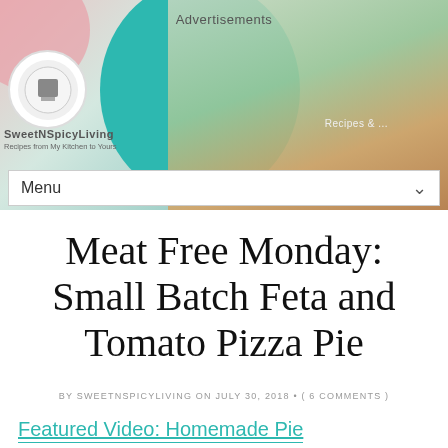[Figure (screenshot): Website header with food/fruit photo background, teal circle shape, pink shape, logo, site name SweetNSpicyLiving, tagline, Advertisements text, Recipes text, and Menu navigation bar]
Meat Free Monday: Small Batch Feta and Tomato Pizza Pie
BY SWEETNSPICYLIVING ON JULY 30, 2018 • ( 6 COMMENTS )
Featured Video: Homemade Pie